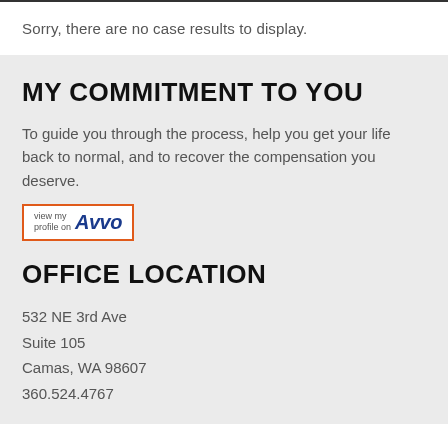Sorry, there are no case results to display.
MY COMMITMENT TO YOU
To guide you through the process, help you get your life back to normal, and to recover the compensation you deserve.
[Figure (logo): Avvo profile badge with orange border, text 'view my profile on' and Avvo logo in blue italic bold]
OFFICE LOCATION
532 NE 3rd Ave
Suite 105
Camas, WA 98607
360.524.4767